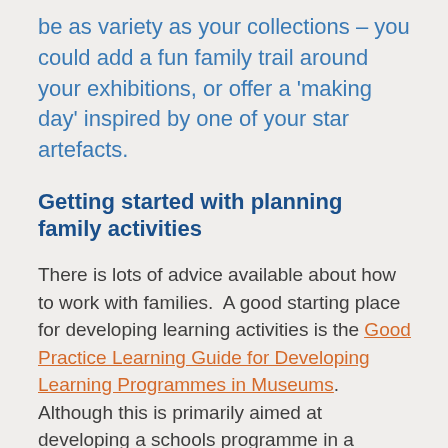be as variety as your collections – you could add a fun family trail around your exhibitions, or offer a 'making day' inspired by one of your star artefacts.
Getting started with planning family activities
There is lots of advice available about how to work with families.  A good starting place for developing learning activities is the Good Practice Learning Guide for Developing Learning Programmes in Museums.  Although this is primarily aimed at developing a schools programme in a museum environment the principles can be applied to family activities run